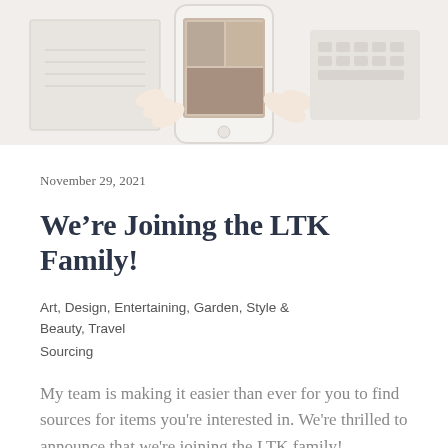[Figure (photo): Hands holding a smartphone displaying a home decor app or website, with a notebook and keyboard in the background on a white desk surface]
November 29, 2021
We’re Joining the LTK Family!
Art, Design, Entertaining, Garden, Style & Beauty, Travel
Sourcing
My team is making it easier than ever for you to find sources for items you’re interested in. We’re thrilled to announce that we’re joining the LTK family!…